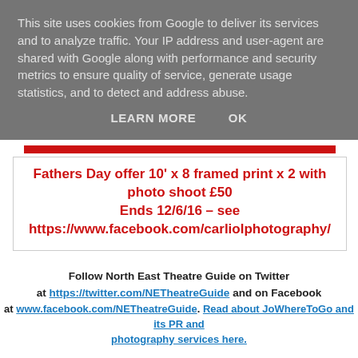This site uses cookies from Google to deliver its services and to analyze traffic. Your IP address and user-agent are shared with Google along with performance and security metrics to ensure quality of service, generate usage statistics, and to detect and address abuse.
LEARN MORE   OK
Fathers Day offer 10' x 8 framed print x 2 with photo shoot £50 Ends 12/6/16 – see https://www.facebook.com/carliolphotography/
Follow North East Theatre Guide on Twitter at https://twitter.com/NETheatreGuide and on Facebook at www.facebook.com/NETheatreGuide. Read about JoWhereToGo and its PR and photography services here.